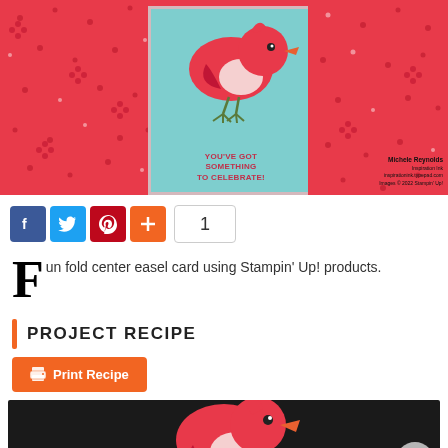[Figure (photo): Stampin' Up! fun fold center easel card with a red bird on a teal/aqua background center panel, flanked by red floral pattern panels. Text reads 'YOU'VE GOT SOMETHING TO CELEBRATE!' with watermark 'Michele Reynolds, Inspiration Ink, inspirationink.typepad.com, Images © 2022 Stampin' Up!']
[Figure (infographic): Social sharing buttons row: Facebook (blue), Twitter (blue), Pinterest (red), Plus/Share (orange), and a count box showing '1']
Fun fold center easel card using Stampin' Up! products.
PROJECT RECIPE
Print Recipe
[Figure (photo): Close-up photo of a red bird craft cutout on a dark background with teal card base visible at bottom]